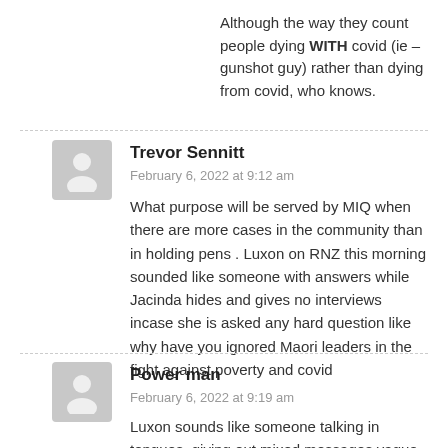Although the way they count people dying WITH covid (ie – gunshot guy) rather than dying from covid, who knows.
Trevor Sennitt
February 6, 2022 at 9:12 am
What purpose will be served by MIQ when there are more cases in the community than in holding pens . Luxon on RNZ this morning sounded like someone with answers while Jacinda hides and gives no interviews incase she is asked any hard question like why have you ignored Maori leaders in the fight against poverty and covid
Power man
February 6, 2022 at 9:19 am
Luxon sounds like someone talking in tongues, giving out mixed messages vague messages. When he can be understood, his response to any